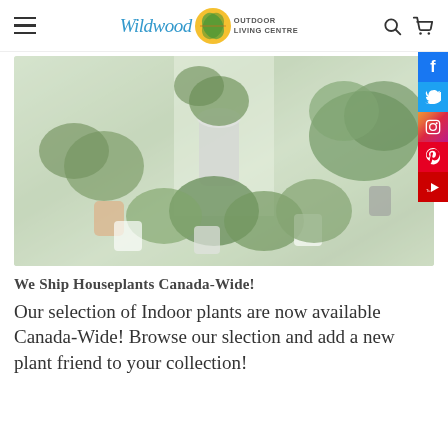Wildwood Outdoor Living Centre
[Figure (photo): Collection of indoor houseplants in white pots arranged on a surface near a window]
We Ship Houseplants Canada-Wide!
Our selection of Indoor plants are now available Canada-Wide! Browse our slection and add a new plant friend to your collection!